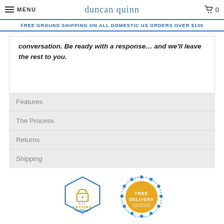MENU  duncan quinn  0
FREE GROUND SHIPPING ON ALL DOMESTIC US ORDERS OVER $100
conversation. Be ready with a response... and we'll leave the rest to you.
Features
The Process
Returns
Shipping
[Figure (logo): SSL Secure badge - hexagon shape with lock icon]
[Figure (logo): Free Delivery badge - circular sunburst shape]